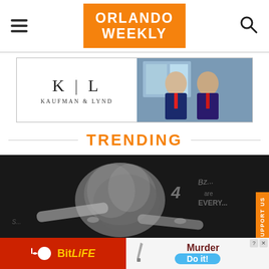ORLANDO WEEKLY
[Figure (photo): Kaufman & Lynd law firm advertisement banner with K|L logo on the left and two men in suits on the right]
TRENDING
[Figure (photo): Black and white photo of a person with curly hair bending forward, hands reaching into their hair, with graffiti writing in the background]
[Figure (other): BitLife mobile game advertisement (red background with yellow BitLife logo) on the left, and a Murder/Do it! game advertisement on the right]